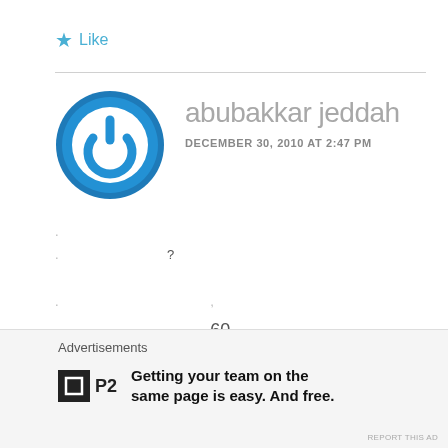★ Like
[Figure (illustration): Blue circular power button icon/avatar for user abubakkar jeddah]
abubakkar jeddah
DECEMBER 30, 2010 AT 2:47 PM
? 60
Advertisements
[Figure (logo): P2 logo - square icon with P2 text]
Getting your team on the same page is easy. And free.